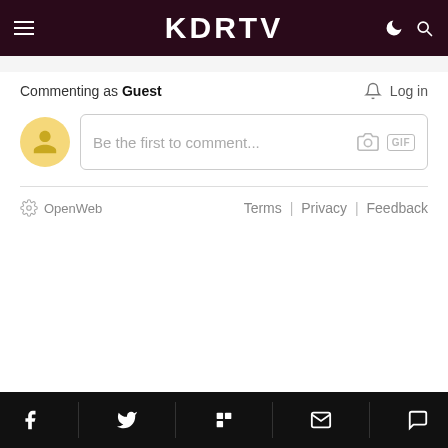KDRTV
Commenting as Guest
Log in
Be the first to comment...
OpenWeb   Terms | Privacy | Feedback
Social icons: Facebook, Twitter, Flipboard, Email, Comment